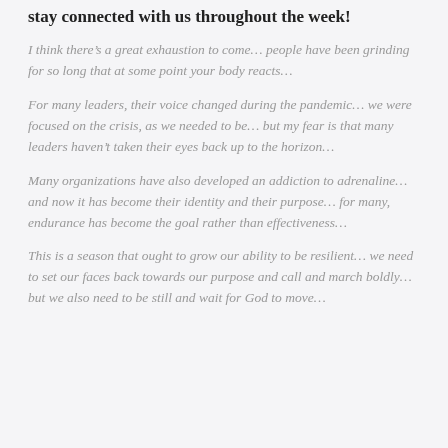stay connected with us throughout the week!
I think there’s a great exhaustion to come… people have been grinding for so long that at some point your body reacts…
For many leaders, their voice changed during the pandemic… we were focused on the crisis, as we needed to be… but my fear is that many leaders haven’t taken their eyes back up to the horizon…
Many organizations have also developed an addiction to adrenaline… and now it has become their identity and their purpose… for many, endurance has become the goal rather than effectiveness…
This is a season that ought to grow our ability to be resilient… we need to set our faces back towards our purpose and call and march boldly… but we also need to be still and wait for God to move…